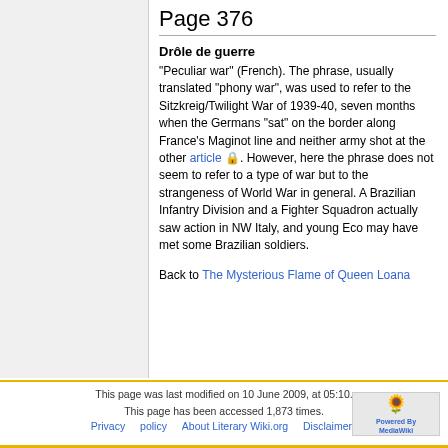Page 376
Drôle de guerre
"Peculiar war" (French). The phrase, usually translated "phony war", was used to refer to the Sitzkreig/Twilight War of 1939-40, seven months when the Germans "sat" on the border along France's Maginot line and neither army shot at the other article 🔒. However, here the phrase does not seem to refer to a type of war but to the strangeness of World War in general. A Brazilian Infantry Division and a Fighter Squadron actually saw action in NW Italy, and young Eco may have met some Brazilian soldiers.
Back to The Mysterious Flame of Queen Loana
This page was last modified on 10 June 2009, at 05:10. This page has been accessed 1,873 times. Privacy policy About Literary Wiki.org Disclaimers